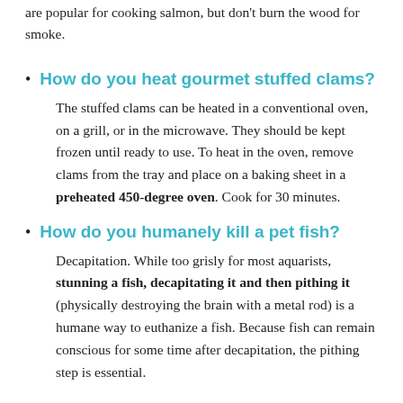are popular for cooking salmon, but don't burn the wood for smoke.
How do you heat gourmet stuffed clams?
The stuffed clams can be heated in a conventional oven, on a grill, or in the microwave. They should be kept frozen until ready to use. To heat in the oven, remove clams from the tray and place on a baking sheet in a preheated 450-degree oven. Cook for 30 minutes.
How do you humanely kill a pet fish?
Decapitation. While too grisly for most aquarists, stunning a fish, decapitating it and then pithing it (physically destroying the brain with a metal rod) is a humane way to euthanize a fish. Because fish can remain conscious for some time after decapitation, the pithing step is essential.